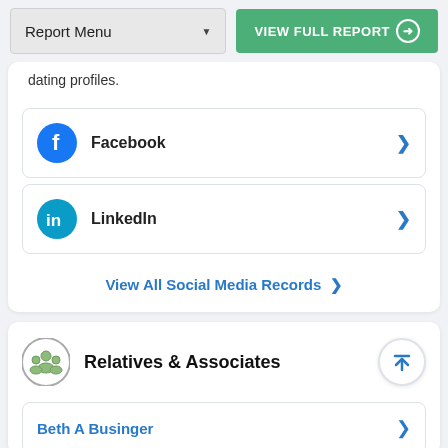Report Menu
VIEW FULL REPORT
dating profiles.
Facebook
LinkedIn
View All Social Media Records
Relatives & Associates
Beth A Businger